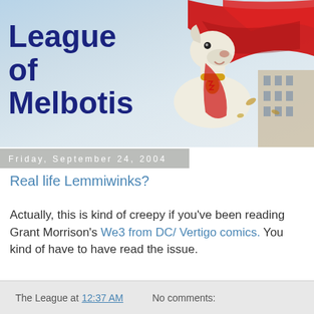[Figure (illustration): Banner image for 'League of Melbotis' blog showing a white dog wearing a red cape and gold collar with Superman-style emblem, flying over a cityscape against a light blue sky. Bold dark blue text reads 'League of Melbotis' on the left side.]
Friday, September 24, 2004
Real life Lemmiwinks?
Actually, this is kind of creepy if you've been reading Grant Morrison's We3 from DC/ Vertigo comics. You kind of have to have read the issue.
The League at 12:37 AM   No comments: